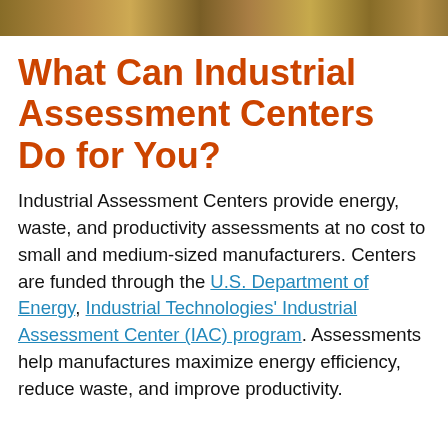[Figure (photo): Horizontal photo strip at the top of the page showing industrial/manufacturing imagery in warm brown and amber tones.]
What Can Industrial Assessment Centers Do for You?
Industrial Assessment Centers provide energy, waste, and productivity assessments at no cost to small and medium-sized manufacturers. Centers are funded through the U.S. Department of Energy, Industrial Technologies' Industrial Assessment Center (IAC) program. Assessments help manufactures maximize energy efficiency, reduce waste, and improve productivity.